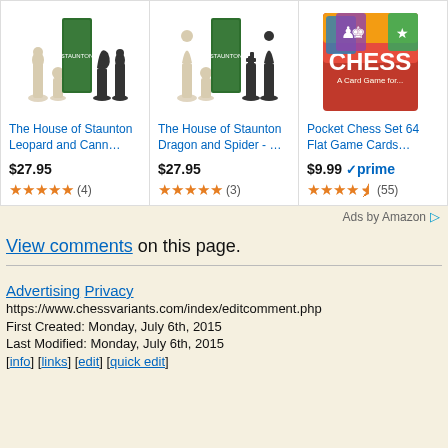[Figure (screenshot): Amazon ad banner with three chess product listings: The House of Staunton Leopard and Cann... ($27.95, 4 reviews), The House of Staunton Dragon and Spider - ... ($27.95, 3 reviews), Pocket Chess Set 64 Flat Game Cards... ($9.99 prime, 55 reviews)]
Ads by Amazon
View comments on this page.
Advertising Privacy
https://www.chessvariants.com/index/editcomment.php
First Created: Monday, July 6th, 2015
Last Modified: Monday, July 6th, 2015
[info] [links] [edit] [quick edit]